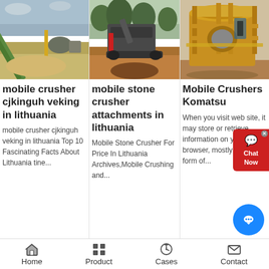get price
[Figure (photo): Mobile crusher / conveyor belt at a sand quarry site with grey sky]
[Figure (photo): Mobile stone crusher machine in a field/forest with pile of crushed material]
[Figure (photo): Large yellow industrial Mobile Crusher - Komatsu type machine]
mobile crusher cjkinguh veking in lithuania
mobile stone crusher attachments in lithuania
Mobile Crushers Komatsu
mobile crusher cjkinguh veking in lithuania Top 10 Fascinating Facts About Lithuania tine...
Mobile Stone Crusher For Price In Lithuania Archives,Mobile Crushing and...
When you visit web site, it may store or retrieve information on your browser, mostly in the form of cookies...
Home   Product   Cases   Contact